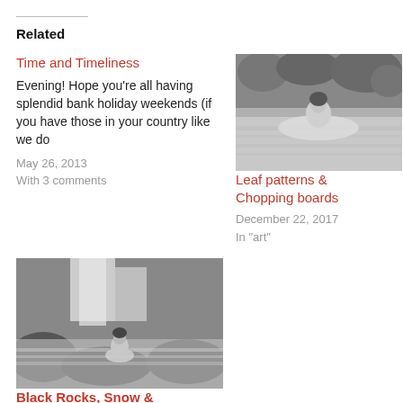Related
Time and Timeliness
Evening! Hope you're all having splendid bank holiday weekends (if you have those in your country like we do
May 26, 2013
With 3 comments
[Figure (photo): Black and white photo of a woman in a natural pool surrounded by tropical foliage]
Leaf patterns & Chopping boards
December 22, 2017
In "art"
[Figure (photo): Black and white photo of a person sitting beneath a waterfall on dark rocks]
Black Rocks, Snow & Rushing Water
June 25, 2018
In "aphrodite"